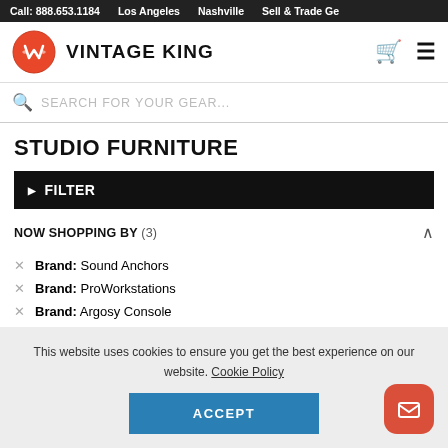Call: 888.653.1184  Los Angeles  Nashville  Sell & Trade Ge...
[Figure (logo): Vintage King logo - orange circular emblem with stylized VK crown and text VINTAGE KING]
STUDIO FURNITURE
▶ FILTER
NOW SHOPPING BY (3)
Brand: Sound Anchors
Brand: ProWorkstations
Brand: Argosy Console
This website uses cookies to ensure you get the best experience on our website. Cookie Policy
ACCEPT